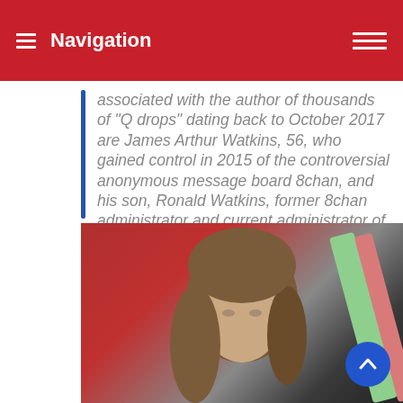Navigation
associated with the author of thousands of "Q drops" dating back to October 2017 are James Arthur Watkins, 56, who gained control in 2015 of the controversial anonymous message board 8chan, and his son, Ronald Watkins, former 8chan administrator and current administrator of its successor, the Watkins-owned 8kun.
[Figure (photo): Photo of a person with long brown hair, in front of a red background with colorful diagonal stripes (green and pink/red), partially visible face.]